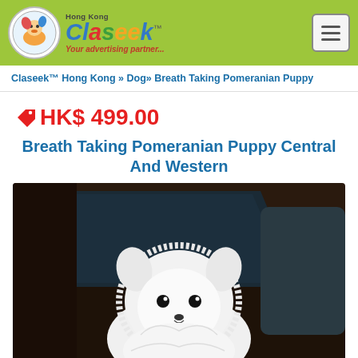Claseek Hong Kong — Your advertising partner...
Claseek™ Hong Kong » Dog» Breath Taking Pomeranian Puppy
HK$ 499.00
Breath Taking Pomeranian Puppy Central And Western
[Figure (photo): White fluffy Pomeranian puppy sitting on a dark leather sofa with a black pillow behind it]